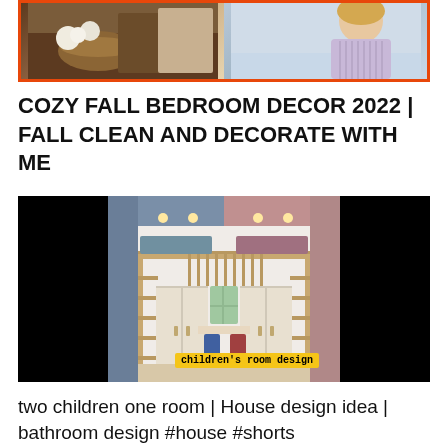[Figure (photo): Thumbnail image with orange border showing cozy fall bedroom decor on the left side and a person on the right side]
COZY FALL BEDROOM DECOR 2022 | FALL CLEAN AND DECORATE WITH ME
[Figure (photo): Children's room design video thumbnail showing a shared bunk bed room with blue and pink color scheme, two children's workspaces, with text overlay 'children's room design']
two children one room | House design idea | bathroom design #house #shorts